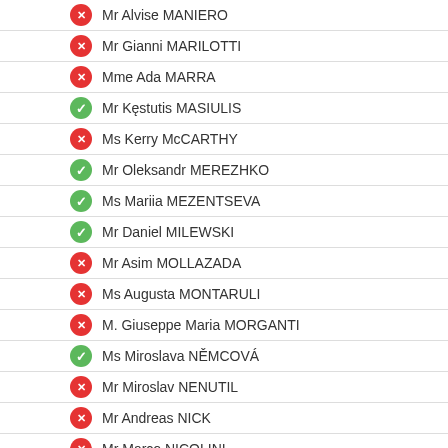Mr Alvise MANIERO
Mr Gianni MARILOTTI
Mme Ada MARRA
Mr Kęstutis MASIULIS
Ms Kerry McCARTHY
Mr Oleksandr MEREZHKO
Ms Mariia MEZENTSEVA
Mr Daniel MILEWSKI
Mr Asim MOLLAZADA
Ms Augusta MONTARULI
M. Giuseppe Maria MORGANTI
Ms Miroslava NĚMCOVÁ
Mr Miroslav NENUTIL
Mr Andreas NICK
Mr Marco NICOLINI
Mr Mika NIIKKO
Ms Snježana NOVAKOVIĆ BURSAĆ